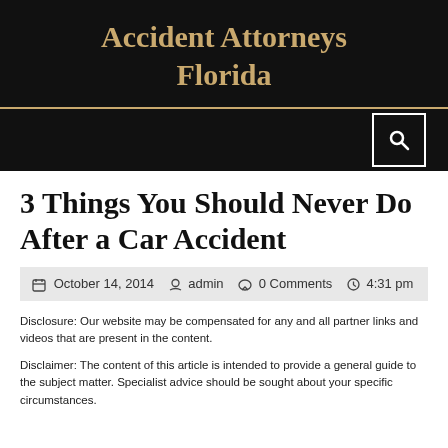Accident Attorneys Florida
3 Things You Should Never Do After a Car Accident
October 14, 2014  admin  0 Comments  4:31 pm
Disclosure: Our website may be compensated for any and all partner links and videos that are present in the content.
Disclaimer: The content of this article is intended to provide a general guide to the subject matter. Specialist advice should be sought about your specific circumstances.